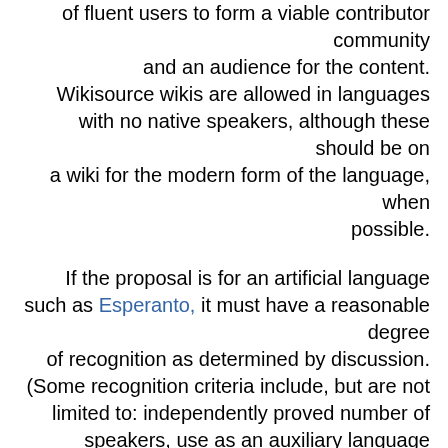of fluent users to form a viable contributor community and an audience for the content. Wikisource wikis are allowed in languages with no native speakers, although these should be on a wiki for the modern form of the language, when possible.
If the proposal is for an artificial language such as Esperanto, it must have a reasonable degree of recognition as determined by discussion. (Some recognition criteria include, but are not limited to: independently proved number of speakers, use as an auxiliary language outside of online communities created solely for the purpose, usage outside of Wikimedia, publication of works in the language for general sale.) Notwithstanding the existence of an ISO 639–3 code, fictional languages are not eligible for